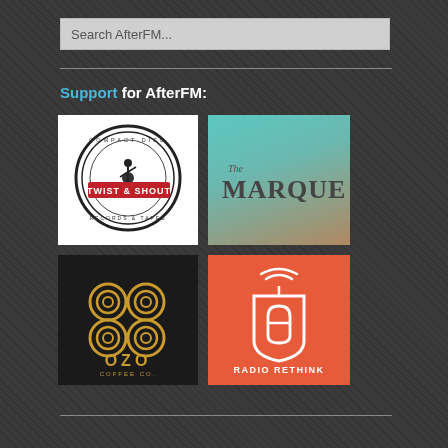Search AfterFM...
Support for AfterFM:
[Figure (logo): Twist & Shout Compact Disc Records logo — circular black and white logo with red banner reading TWIST & SHOUT]
[Figure (logo): The Marquee logo — teal to brown gradient background with text 'The MARQUEE']
[Figure (logo): OZO Coffee Co. logo — black background with gold/yellow stacked circular pattern and text OZO COFFEE CO.]
[Figure (logo): Radio Rethink logo — orange background with white radio/mug icon and text RADIO RETHINK]